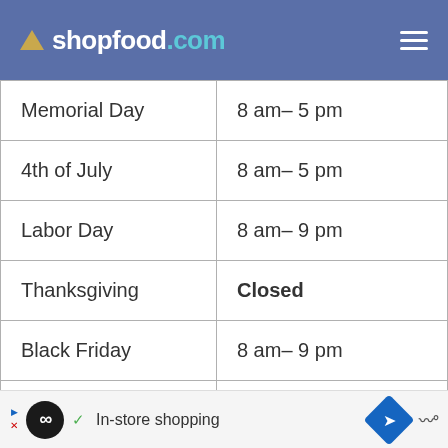shopfood.com
| Memorial Day | 8 am– 5 pm |
| 4th of July | 8 am– 5 pm |
| Labor Day | 8 am– 9 pm |
| Thanksgiving | Closed |
| Black Friday | 8 am– 9 pm |
| Christmas Eve | 8 am– 6 pm |